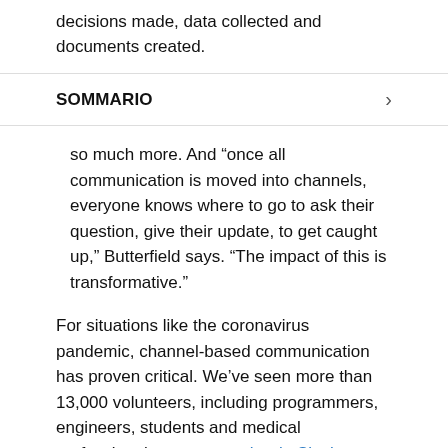decisions made, data collected and documents created.
SOMMARIO
so much more. And “once all communication is moved into channels, everyone knows where to go to ask their question, give their update, to get caught up,” Butterfield says. “The impact of this is transformative.”
For situations like the coronavirus pandemic, channel-based communication has proven critical. We’ve seen more than 13,000 volunteers, including programmers, engineers, students and medical professionals, come together in Slack channels to develop protective equipment